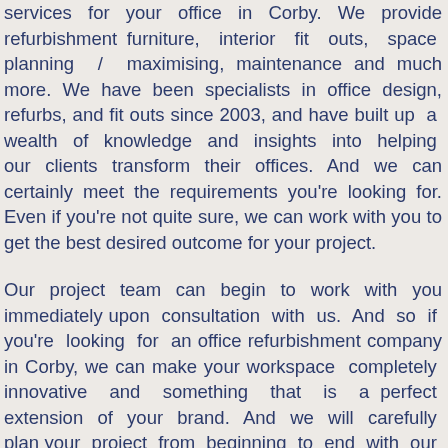services for your office in Corby. We provide refurbishment furniture, interior fit outs, space planning / maximising, maintenance and much more. We have been specialists in office design, refurbs, and fit outs since 2003, and have built up a wealth of knowledge and insights into helping our clients transform their offices. And we can certainly meet the requirements you're looking for. Even if you're not quite sure, we can work with you to get the best desired outcome for your project.
Our project team can begin to work with you immediately upon consultation with us. And so if you're looking for an office refurbishment company in Corby, we can make your workspace completely innovative and something that is a perfect extension of your brand. And we will carefully plan your project from beginning to end with our expert and experienced project team. Simply get in touch with us today as per below, and we will consult with you on your